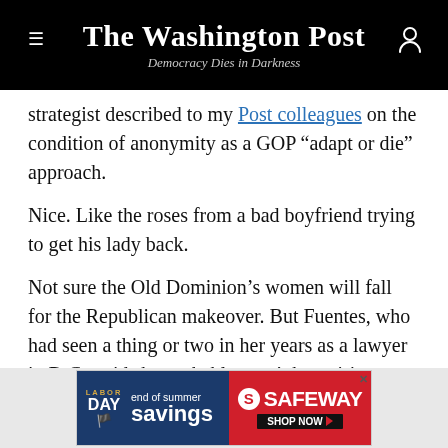The Washington Post — Democracy Dies in Darkness
strategist described to my Post colleagues on the condition of anonymity as a GOP “adapt or die” approach.
Nice. Like the roses from a bad boyfriend trying to get his lady back.
Not sure the Old Dominion’s women will fall for the Republican makeover. But Fuentes, who had seen a thing or two in her years as a lawyer in D.C., said she probably won’t be retiring anytime soon.
[Figure (advertisement): Safeway Labor Day end of summer savings advertisement banner]